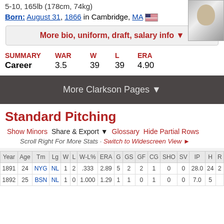5-10, 165lb (178cm, 74kg)
Born: August 31, 1866 in Cambridge, MA
More bio, uniform, draft, salary info ▼
| SUMMARY | WAR | W | L | ERA |
| --- | --- | --- | --- | --- |
| Career | 3.5 | 39 | 39 | 4.90 |
More Clarkson Pages ▼
Standard Pitching
Show Minors    Share & Export ▼    Glossary    Hide Partial Rows
Scroll Right For More Stats · Switch to Widescreen View ►
| Year | Age | Tm | Lg | W | L | W-L% | ERA | G | GS | GF | CG | SHO | SV | IP | H | R |
| --- | --- | --- | --- | --- | --- | --- | --- | --- | --- | --- | --- | --- | --- | --- | --- | --- |
| 1891 | 24 | NYG | NL | 1 | 2 | .333 | 2.89 | 5 | 2 | 2 | 1 | 0 | 0 | 28.0 | 24 | 2 |
| 1892 | 25 | BSN | NL | 1 | 0 | 1.000 | 1.29 | 1 | 1 | 0 | 1 | 0 | 0 | 7.0 | 5 |  |